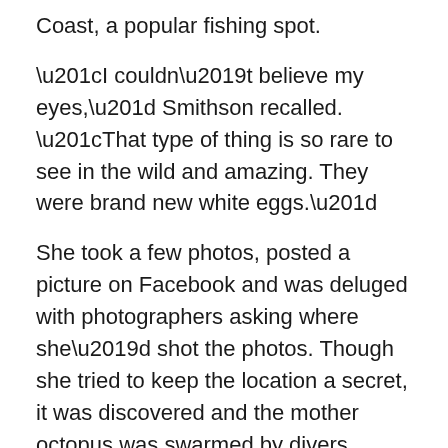Coast, a popular fishing spot.
“I couldn’t believe my eyes,” Smithson recalled. “That type of thing is so rare to see in the wild and amazing. They were brand new white eggs.”
She took a few photos, posted a picture on Facebook and was deluged with photographers asking where she’d shot the photos. Though she tried to keep the location a secret, it was discovered and the mother octopus was swarmed by divers.
“She became a celebrity,” Smithson said of the mother, who stayed with her eggs, protecting and aerating them despite the attention.
Smithson followed their development, posting pictures of the tiny octopuses developing inside the egg sacks, changing from elongated white sacs to see-through